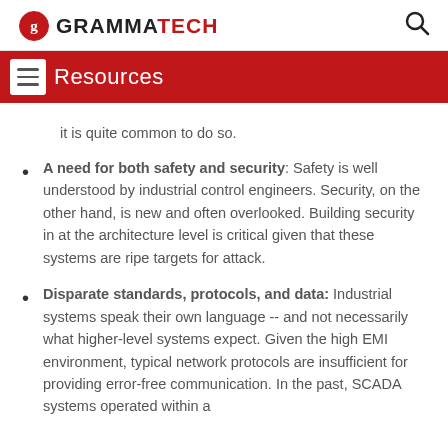GRAMMATECH
Resources
it is quite common to do so.
A need for both safety and security: Safety is well understood by industrial control engineers. Security, on the other hand, is new and often overlooked. Building security in at the architecture level is critical given that these systems are ripe targets for attack.
Disparate standards, protocols, and data: Industrial systems speak their own language -- and not necessarily what higher-level systems expect. Given the high EMI environment, typical network protocols are insufficient for providing error-free communication. In the past, SCADA systems operated within a